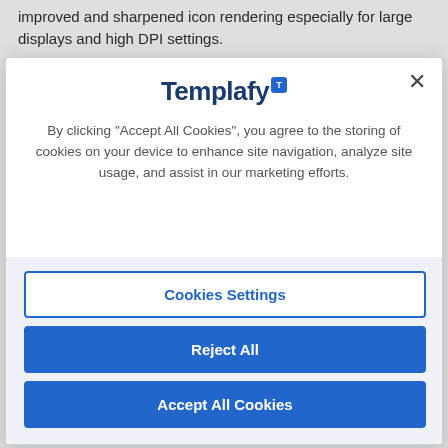improved and sharpened icon rendering especially for large displays and high DPI settings.
[Figure (screenshot): Cookie consent modal dialog for Templafy website. Shows the Templafy logo at the top with a blue badge, a close (X) button in the top right, descriptive text about cookie usage, and three buttons at the bottom: 'Cookies Settings' (outlined), 'Reject All' (filled blue), and 'Accept All Cookies' (filled blue). The modal appears over a semi-transparent overlay.]